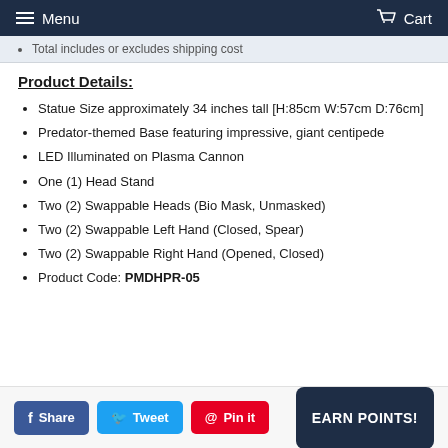Menu  Cart
Total includes or excludes shipping cost
Product Details:
Statue Size approximately 34 inches tall [H:85cm W:57cm D:76cm]
Predator-themed Base featuring impressive, giant centipede
LED Illuminated on Plasma Cannon
One (1) Head Stand
Two (2) Swappable Heads (Bio Mask, Unmasked)
Two (2) Swappable Left Hand (Closed, Spear)
Two (2) Swappable Right Hand (Opened, Closed)
Product Code: PMDHPR-05
Share  Tweet  Pin it  EARN POINTS!